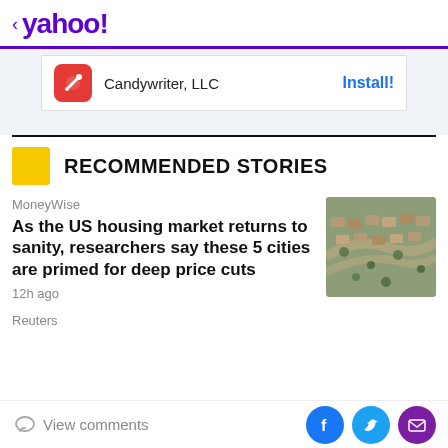< yahoo!
[Figure (logo): Candywriter LLC app icon (red square with white pencil/brush) with Install! button]
RECOMMENDED STORIES
MoneyWise
As the US housing market returns to sanity, researchers say these 5 cities are primed for deep price cuts
12h ago
[Figure (photo): Aerial view of a suburban housing development with curved streets]
Reuters
View comments